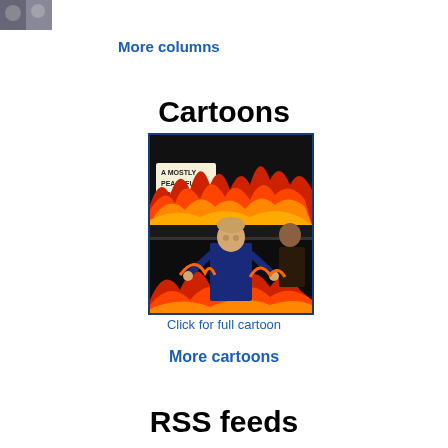[Figure (photo): Small thumbnail image of two people in top-left corner]
More columns
Cartoons
[Figure (illustration): Political cartoon showing a figure at a podium with flames and a sign reading 'A MOSTLY PEACEFUL SPEECH']
Click for full cartoon
More cartoons
RSS feeds